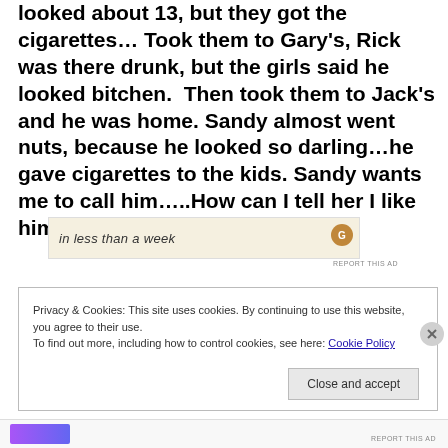looked about 13, but they got the cigarettes… Took them to Gary's, Rick was there drunk, but the girls said he looked bitchen. Then took them to Jack's and he was home. Sandy almost went nuts, because he looked so darling…he gave cigarettes to the kids. Sandy wants me to call him…..How can I tell her I like him too.
[Figure (other): Advertisement banner with text 'in less than a week' on a tan/beige background with an orange circular icon on the right, and 'REPORT THIS AD' text below]
Privacy & Cookies: This site uses cookies. By continuing to use this website, you agree to their use.
To find out more, including how to control cookies, see here: Cookie Policy
Close and accept